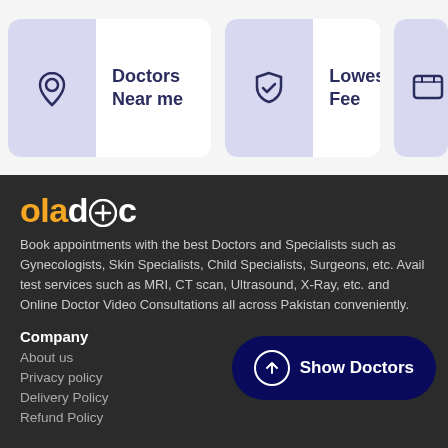[Figure (other): Filter card: location pin icon with label 'Doctors Near me']
[Figure (other): Filter card: shield checkmark icon with label 'Lowest Fee']
[Figure (logo): Oladoc logo in orange and white]
Book appointments with the best Doctors and Specialists such as Gynecologists, Skin Specialists, Child Specialists, Surgeons, etc. Avail test services such as MRI, CT scan, Ultrasound, X-Ray, etc. and Online Doctor Video Consultations all across Pakistan conveniently.
Company
About us
Privacy policy
Delivery Policy
Refund Policy